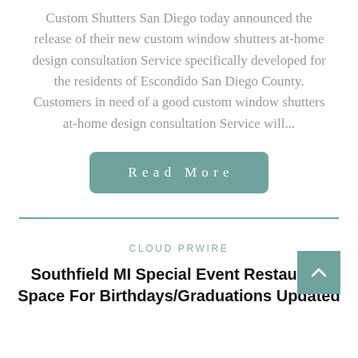Custom Shutters San Diego today announced the release of their new custom window shutters at-home design consultation Service specifically developed for the residents of Escondido San Diego County. Customers in need of a good custom window shutters at-home design consultation Service will...
Read More
CLOUD PRWIRE
Southfield MI Special Event Restaurant Space For Birthdays/Graduations Updated